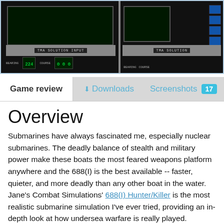[Figure (screenshot): Screenshot of a submarine simulation game showing control panels with dark screens, green digital displays, instrument panels with labels and digit readouts, and blue buttons on the right side.]
Game review   Downloads   Screenshots  17
Overview
Submarines have always fascinated me, especially nuclear submarines. The deadly balance of stealth and military power make these boats the most feared weapons platform anywhere and the 688(I) is the best available -- faster, quieter, and more deadly than any other boat in the water. Jane's Combat Simulations' 688(I) Hunter/Killer is the most realistic submarine simulation I've ever tried, providing an in-depth look at how undersea warfare is really played.